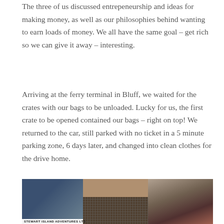The three of us discussed entrepeneurship and ideas for making money, as well as our philosophies behind wanting to earn loads of money. We all have the same goal – get rich so we can give it away – interesting.
Arriving at the ferry terminal in Bluff, we waited for the crates with our bags to be unloaded. Lucky for us, the first crate to be opened contained our bags – right on top! We returned to the car, still parked with no ticket in a 5 minute parking zone, 6 days later, and changed into clean clothes for the drive home.
[Figure (photo): Photograph of what appears to be a ferry terminal or dock area. Left panel shows a 'Stewart Island Adventures Ltd' sign. Middle and right panels show wooden structural elements and netting/fencing at the terminal.]